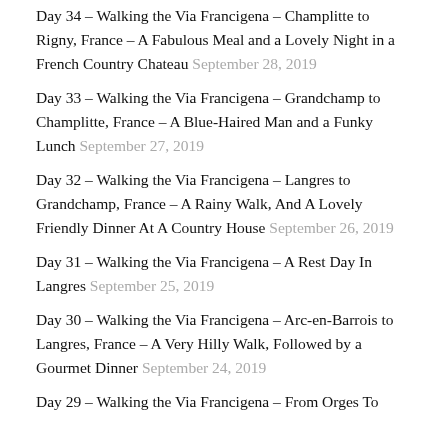Day 34 – Walking the Via Francigena – Champlitte to Rigny, France – A Fabulous Meal and a Lovely Night in a French Country Chateau September 28, 2019
Day 33 – Walking the Via Francigena – Grandchamp to Champlitte, France – A Blue-Haired Man and a Funky Lunch September 27, 2019
Day 32 – Walking the Via Francigena – Langres to Grandchamp, France – A Rainy Walk, And A Lovely Friendly Dinner At A Country House September 26, 2019
Day 31 – Walking the Via Francigena – A Rest Day In Langres September 25, 2019
Day 30 – Walking the Via Francigena – Arc-en-Barrois to Langres, France – A Very Hilly Walk, Followed by a Gourmet Dinner September 24, 2019
Day 29 – Walking the Via Francigena – From Orges To…